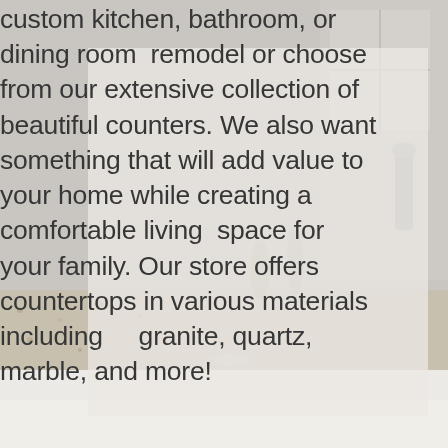[Figure (photo): Background photo of a kitchen/bathroom countertop area with granite surface, faucet, and kitchen accessories. A semi-transparent light gray overlay box sits in the center-right portion of the image.]
custom kitchen, bathroom, or dining room remodel or choose from our extensive collection of beautiful counters. We also want something that will add value to your home while creating a comfortable living space for your family. Our store offers countertops in various materials including granite, quartz, marble, and more!